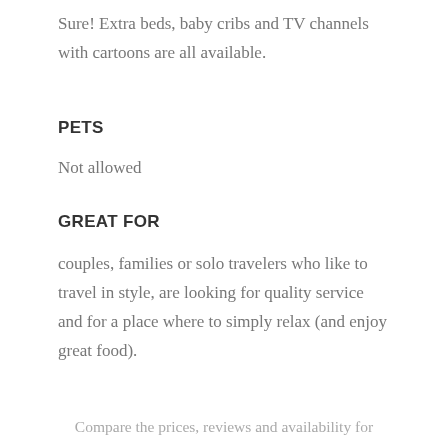Sure! Extra beds, baby cribs and TV channels with cartoons are all available.
PETS
Not allowed
GREAT FOR
couples, families or solo travelers who like to travel in style, are looking for quality service and for a place where to simply relax (and enjoy great food).
Compare the prices, reviews and availability for